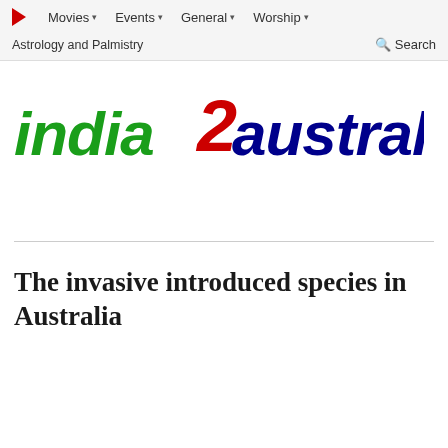Movies  Events  General  Worship  Astrology and Palmistry  Search
[Figure (logo): India2Australia logo — 'india' in green bold italic, '2' in red bold, 'australia' in blue bold italic]
The invasive introduced species in Australia